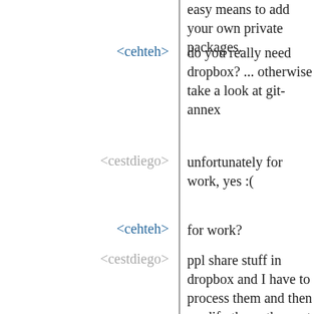easy means to add your own private packages.
<cehteh> do you really need dropbox? ... otherwise take a look at git-annex
<cestdiego> unfortunately for work, yes :(
<cehteh> for work?
<cestdiego> ppl share stuff in dropbox and I have to process them and then modify them..they get the thing instantly..
<davexunit> free alternatives include owncloud and seafile
<cehteh> what company shares